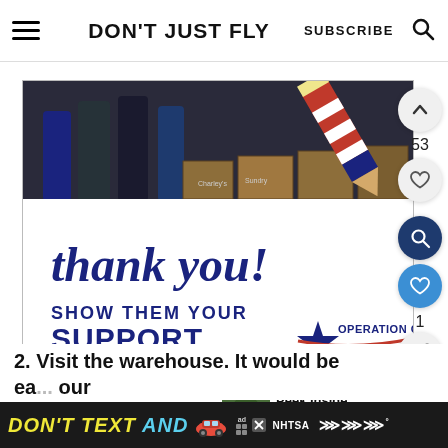DON'T JUST FLY | SUBSCRIBE
[Figure (photo): Operation Gratitude advertisement: 'Thank you! Show them your support' with military personnel and patriotic pencil graphic]
53
1
WHAT'S NEXT → Peek Inside the Charlott...
2. Visit the warehouse. It would be ea... our
[Figure (photo): Bottom ad banner: DON'T TEXT AND [car emoji] NHTSA advertisement]